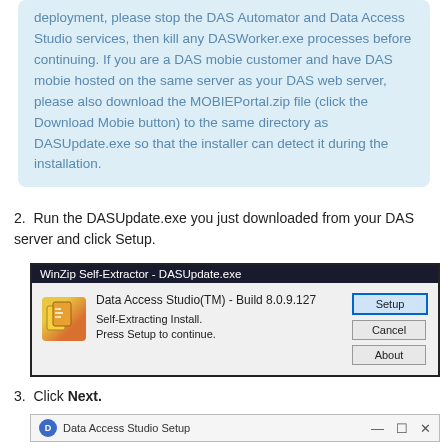deployment, please stop the DAS Automator and Data Access Studio services, then kill any DASWorker.exe processes before continuing. If you are a DAS mobie customer and have DAS mobie hosted on the same server as your DAS web server, please also download the MOBIEPortal.zip file (click the Download Mobie button) to the same directory as DASUpdate.exe so that the installer can detect it during the installation.
2. Run the DASUpdate.exe you just downloaded from your DAS server and click Setup.
[Figure (screenshot): WinZip Self-Extractor - DASUpdate.exe dialog showing Data Access Studio(TM) - Build 8.0.9.127, Self-Extracting Install, Press Setup to continue, with Setup, Cancel, and About buttons.]
3. Click Next.
[Figure (screenshot): Data Access Studio Setup window title bar with icon, minimize, restore and close buttons.]